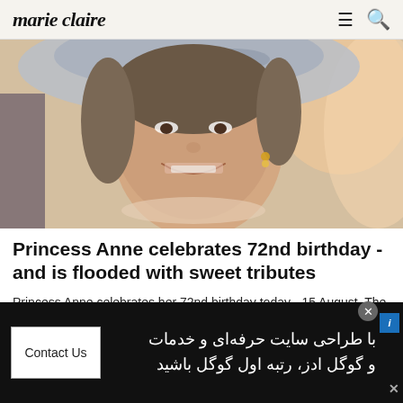marie claire
[Figure (photo): Close-up photo of a smiling woman wearing a wide-brimmed hat with a decorative brim, pearl earring visible, outdoors background]
Princess Anne celebrates 72nd birthday - and is flooded with sweet tributes
Princess Anne celebrates her 72nd birthday today - 15 August. The Princess Royal may remain quiet about her ...
Marie Claire
[Figure (photo): Partial view of another article image showing warm tones, cropped at bottom of page]
[Figure (other): Advertisement banner with black background showing Persian/Farsi text and a Contact Us button. Text reads: با طراحی سایت حرفه‌ای و خدمات و گوگل ادز، رتبه اول گوگل باشید]